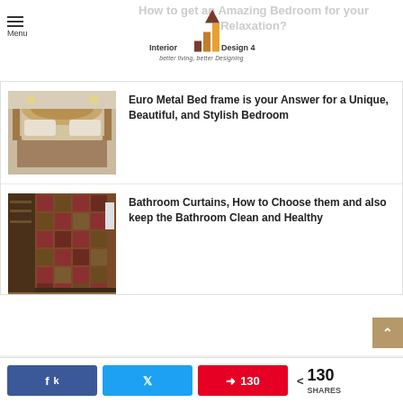Interior Design 4 — better living, better Designing
How to get an Amazing Bedroom for your Relaxation?
[Figure (photo): Luxury bedroom with ornate gold headboard and elegant decor]
Euro Metal Bed frame is your Answer for a Unique, Beautiful, and Stylish Bedroom
[Figure (photo): Colorful patchwork bathroom curtains in dark red/brown tones]
Bathroom Curtains, How to Choose them and also keep the Bathroom Clean and Healthy
130 SHARES